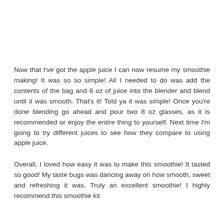Now that I've got the apple juice I can now resume my smoothie making! It was so so simple! All I needed to do was add the contents of the bag and 8 oz of juice into the blender and blend until it was smooth. That's it! Told ya it was simple! Once you're done blending go ahead and pour two 8 oz glasses, as it is recommended or enjoy the entire thing to yourself. Next time I'm going to try different juices to see how they compare to using apple juice.
Overall, I loved how easy it was to make this smoothie! It tasted so good! My taste bugs was dancing away on how smooth, sweet and refreshing it was. Truly an excellent smoothie! I highly recommend this smoothie kit